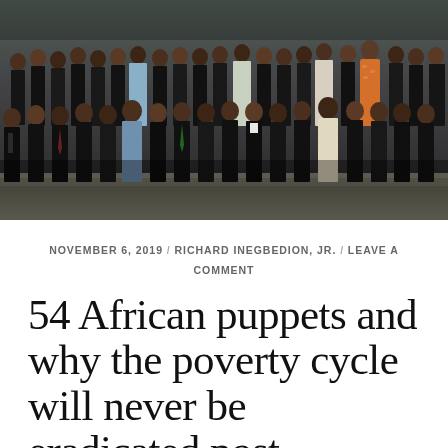[Figure (photo): Group photo of approximately 30+ African leaders and dignitaries standing in formal attire (suits and traditional robes) outdoors, in multiple rows. One woman in bright orange patterned dress is visible on the right side.]
NOVEMBER 6, 2019 / RICHARD INEGBEDION, JR. / LEAVE A COMMENT
54 African puppets and why the poverty cycle will never be eradicated post-